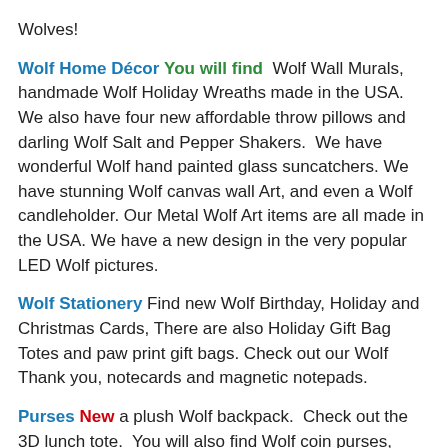Wolves!
Wolf Home Décor You will find Wolf Wall Murals, handmade Wolf Holiday Wreaths made in the USA. We also have four new affordable throw pillows and darling Wolf Salt and Pepper Shakers. We have wonderful Wolf hand painted glass suncatchers. We have stunning Wolf canvas wall Art, and even a Wolf candleholder. Our Metal Wolf Art items are all made in the USA. We have a new design in the very popular LED Wolf pictures.
Wolf Stationery Find new Wolf Birthday, Holiday and Christmas Cards, There are also Holiday Gift Bag Totes and paw print gift bags. Check out our Wolf Thank you, notecards and magnetic notepads.
Purses New a plush Wolf backpack. Check out the 3D lunch tote. You will also find Wolf coin purses, Wolf Canvas Totes and a messenger bags.